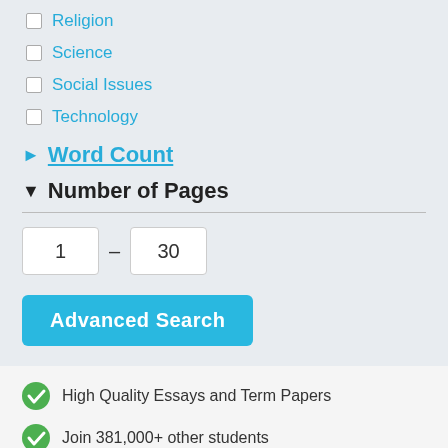Religion
Science
Social Issues
Technology
▶ Word Count
▼ Number of Pages
1 – 30
Advanced Search
High Quality Essays and Term Papers
Join 381,000+ other students
Get Better Grades
Sign up